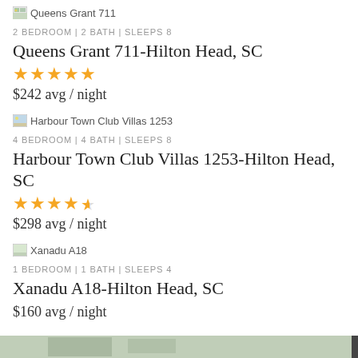[Figure (photo): Thumbnail image placeholder for Queens Grant 711]
Queens Grant 711
2 BEDROOM | 2 BATH | SLEEPS 8
Queens Grant 711 - Hilton Head, SC
[Figure (other): 4.5 star rating shown as yellow stars]
$242 avg / night
[Figure (photo): Thumbnail image placeholder for Harbour Town Club Villas 1253]
Harbour Town Club Villas 1253
4 BEDROOM | 4 BATH | SLEEPS 8
Harbour Town Club Villas 1253 - Hilton Head, SC
[Figure (other): 4.5 star rating shown as yellow stars with half star]
$298 avg / night
[Figure (photo): Thumbnail image placeholder for Xanadu A18]
Xanadu A18
1 BEDROOM | 1 BATH | SLEEPS 4
Xanadu A18 - Hilton Head, SC
$160 avg / night
[Figure (photo): Partial thumbnail image at bottom of page]